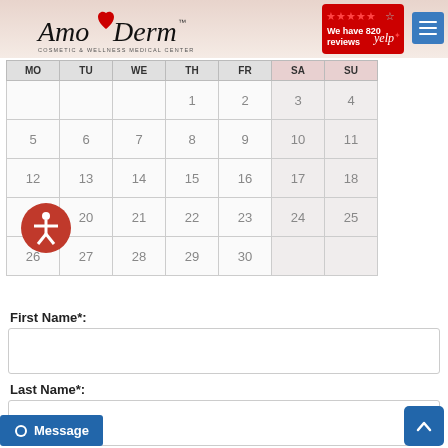[Figure (logo): AmoDerm Cosmetic & Wellness Medical Center logo with heart graphic and red script font]
[Figure (infographic): Yelp badge showing 5 stars and 820 reviews]
[Figure (screenshot): Monthly calendar grid showing days MO TU WE TH FR SA SU with dates 1-30]
[Figure (illustration): Accessibility icon: red circle with white person figure]
First Name*:
[Figure (other): Text input field for First Name]
Last Name*:
[Figure (other): Text input field for Last Name]
[Figure (other): Message chat button at bottom left]
[Figure (other): Scroll to top blue button at bottom right]